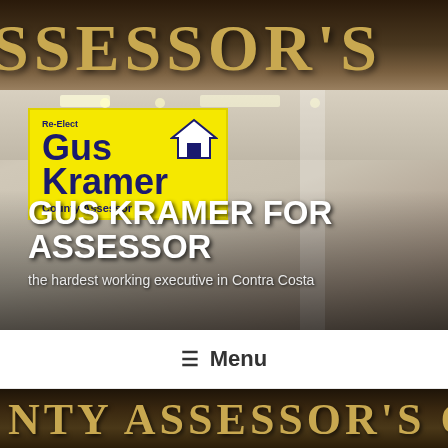[Figure (photo): Office interior background with ceiling lights and 'SSESSOR'S OFFi' text visible on sign at top; a person stands in the office. Campaign logo for Re-Elect Gus Kramer County Assessor overlaid on photo.]
GUS KRAMER FOR ASSESSOR
the hardest working executive in Contra Costa
☰ Menu
[Figure (photo): Close-up of bronze lettering reading 'NTY ASSESSOR'S OFFICE' on dark background.]